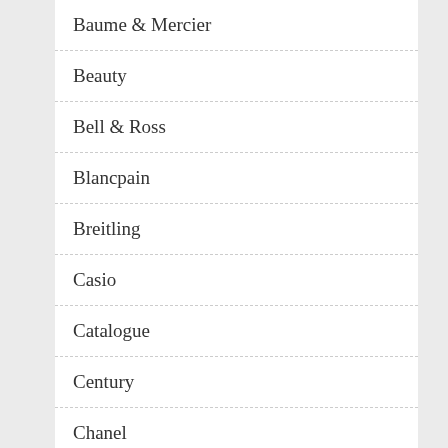Baume & Mercier
Beauty
Bell & Ross
Blancpain
Breitling
Casio
Catalogue
Century
Chanel
Chopard
Citizen